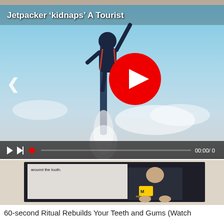[Figure (screenshot): Video player showing a jetpacker carrying a tourist in the air with jetpack smoke trail. Sky background. Title overlay: Jetpacker 'kidnaps' A Tourist. Large red play button in center. Left navigation arrow. Video controls bar at bottom with play, skip, red dot, progress bar, and timestamp 00:00/0.]
[Figure (screenshot): Second video thumbnail showing a person in dark Michigan scrubs/medical attire in front of a screen. Subtitle text: 'around the tooth.' Appears to be a dental health video.]
60-second Ritual Rebuilds Your Teeth and Gums (Watch